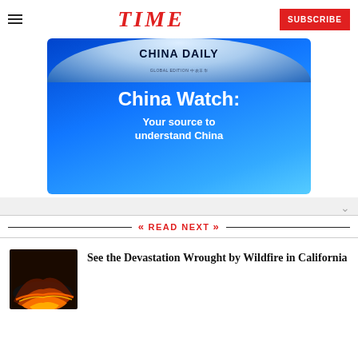TIME | SUBSCRIBE
[Figure (photo): China Daily advertisement: blue circular logo with 'CHINA DAILY GLOBAL EDITION' text, and blue background with white text reading 'China Watch: Your source to understand China']
READ NEXT
[Figure (photo): Aerial photo of wildfire devastation in California, showing orange glowing fire lines against dark landscape at night]
See the Devastation Wrought by Wildfire in California